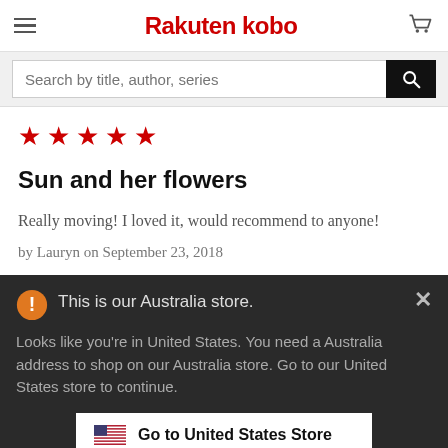Rakuten kobo
Search by title, author, series
[Figure (other): Five red star rating]
Sun and her flowers
Really moving! I loved it, would recommend to anyone!
by Lauryn on September 23, 2018
This is our Australia store.
Looks like you're in United States. You need a Australia address to shop on our Australia store. Go to our United States store to continue.
Go to United States Store
Choose another store